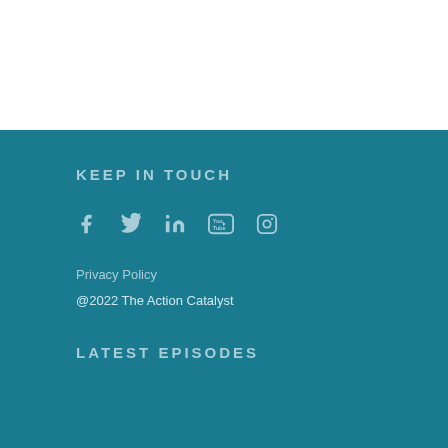KEEP IN TOUCH
[Figure (other): Social media icons: Facebook, Twitter, LinkedIn, YouTube, Instagram]
Privacy Policy
@2022 The Action Catalyst
LATEST EPISODES